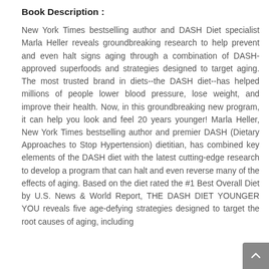Book Description :
New York Times bestselling author and DASH Diet specialist Marla Heller reveals groundbreaking research to help prevent and even halt signs aging through a combination of DASH-approved superfoods and strategies designed to target aging. The most trusted brand in diets--the DASH diet--has helped millions of people lower blood pressure, lose weight, and improve their health. Now, in this groundbreaking new program, it can help you look and feel 20 years younger! Marla Heller, New York Times bestselling author and premier DASH (Dietary Approaches to Stop Hypertension) dietitian, has combined key elements of the DASH diet with the latest cutting-edge research to develop a program that can halt and even reverse many of the effects of aging. Based on the diet rated the #1 Best Overall Diet by U.S. News & World Report, THE DASH DIET YOUNGER YOU reveals five age-defying strategies designed to target the root causes of aging, including